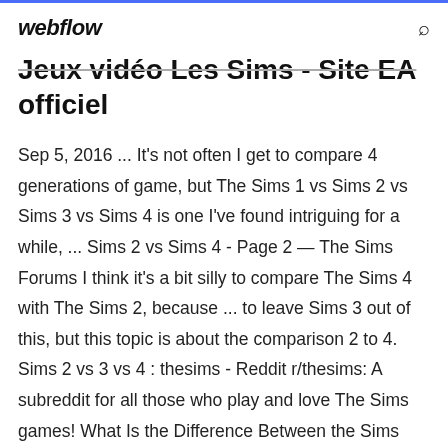webflow
Jeux vidéo Les Sims - Site EA officiel
Sep 5, 2016 ... It's not often I get to compare 4 generations of game, but The Sims 1 vs Sims 2 vs Sims 3 vs Sims 4 is one I've found intriguing for a while, ... Sims 2 vs Sims 4 - Page 2 — The Sims Forums I think it's a bit silly to compare The Sims 4 with The Sims 2, because ... to leave Sims 3 out of this, but this topic is about the comparison 2 to 4. Sims 2 vs 3 vs 4 : thesims - Reddit r/thesims: A subreddit for all those who play and love The Sims games! What Is the Difference Between the Sims Games? - MakeUseOf